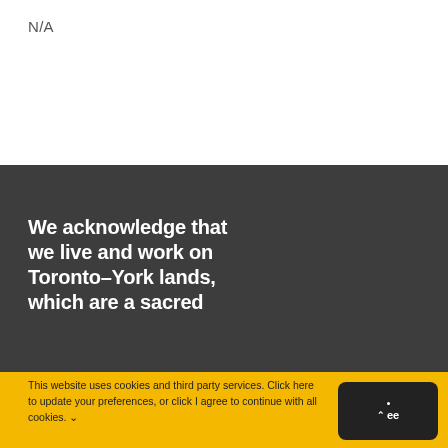N/A
We acknowledge that we live and work on Toronto–York lands, which are a sacred
This website uses cookies and third party services. Click here to update your preferences, or click I agree to continue with all cookies.
[Figure (screenshot): Dark rounded rectangle button with upward caret and 'ee' text, representing an 'Agree' cookie consent button]